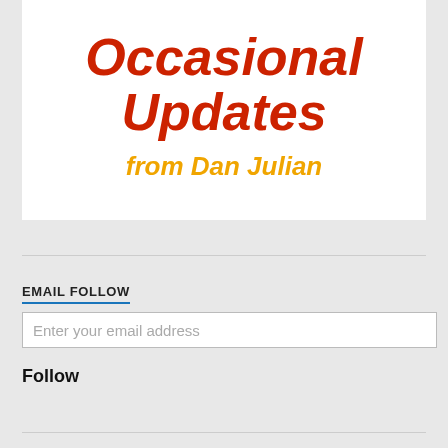Occasional Updates from Dan Julian
EMAIL FOLLOW
Enter your email address
Follow